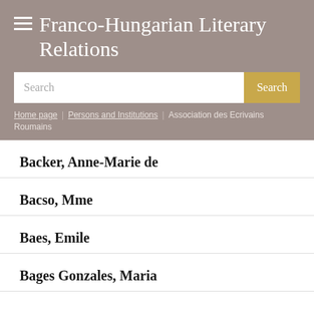Franco-Hungarian Literary Relations
Search | Home page | Persons and Institutions | Association des Ecrivains Roumains
Backer, Anne-Marie de
Bacso, Mme
Baes, Emile
Bages Gonzales, Maria